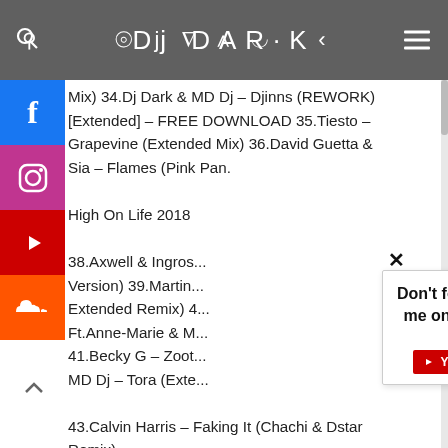DJ DARK
Mix) 34.Dj Dark & MD Dj – Djinns (REWORK) [Extended] – FREE DOWNLOAD 35.Tiesto – Grapevine (Extended Mix) 36.David Guetta & Sia – Flames (Pink Pan... High On Life 2018 38.Axwell & Ingros... Version) 39.Martin... Extended Remix) 4... Ft.Anne-Marie & M... 41.Becky G – Zoot... MD Dj – Tora (Exte... 43.Calvin Harris – Faking It (Chachi & Dstar Remix) 44.Chris Lake ft.Alexis Roberts – Turn Off The Lights (Denis First & Reznikov Remix) 45.The Motans – Jackpot (Dj Dark & MD Dj Remix) – FREE DOWNLOAD
Don't forget to follow me on YouTube! 😁
[Figure (logo): YouTube subscribe button showing 420K subscribers]